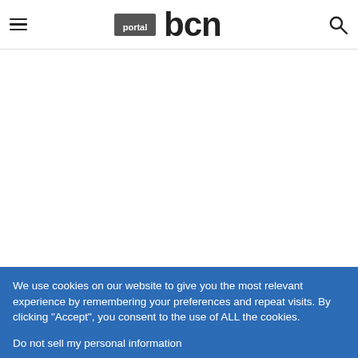[Figure (logo): Portal BCN logo with hamburger menu icon on the left and search icon on the right]
[Figure (other): Large white empty content area below the header]
We use cookies on our website to give you the most relevant experience by remembering your preferences and repeat visits. By clicking "Accept", you consent to the use of ALL the cookies.
Do not sell my personal information